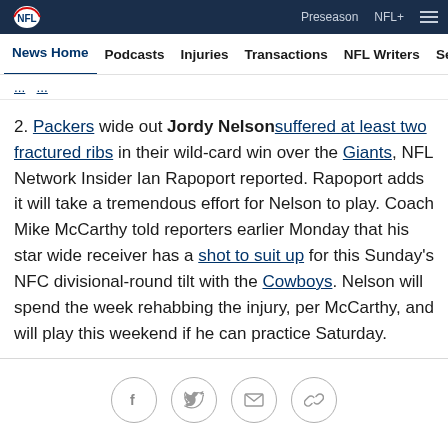NFL navigation bar with NFL logo, Preseason, NFL+ links and hamburger menu
News Home | Podcasts | Injuries | Transactions | NFL Writers | Se...
2. Packers wide out Jordy Nelson suffered at least two fractured ribs in their wild-card win over the Giants, NFL Network Insider Ian Rapoport reported. Rapoport adds it will take a tremendous effort for Nelson to play. Coach Mike McCarthy told reporters earlier Monday that his star wide receiver has a shot to suit up for this Sunday's NFC divisional-round tilt with the Cowboys. Nelson will spend the week rehabbing the injury, per McCarthy, and will play this weekend if he can practice Saturday.